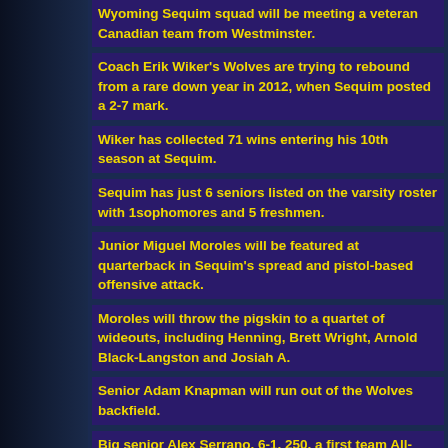Wyoming Sequim squad will be meeting a veteran Canadian team from Westminster.
Coach Erik Wiker's Wolves are trying to rebound from a rare down year in 2012, when Sequim posted a 2-7 mark.
Wiker has collected 71 wins entering his 10th season at Sequim.
Sequim has just 6 seniors listed on the varsity roster with sophomores and 5 freshmen.
Junior Miguel Moroles will be featured at quarterback in Sequim's spread and pistol-based offensive attack.
Moroles will throw the pigskin to a quartet of wideouts, including Henning, Brett Wright, Arnold Black-Langston and Josiah A.
Senior Adam Knapman will run out of the Wolves backfield.
Big senior Alex Serrano, 6-1, 250, a first team All-Olympic L from 2012, will anchor the offensive line at left tackle.
Seniors Austin Sampson and Brett Wright will lead a quick defense that starts 4 juniors and 4 sophomores.